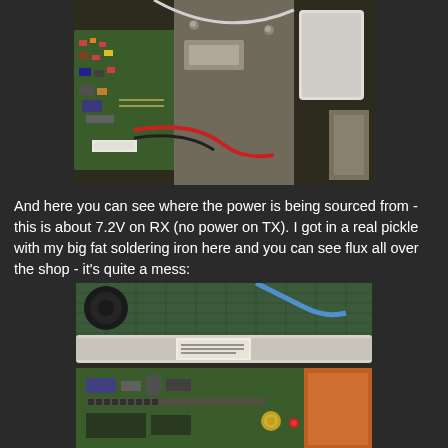[Figure (photo): Close-up photo of the interior of an electronic device showing a green circuit board with components, red and black wires, metal chassis parts, and a white connector block.]
And here you can see where the power is being sourced from - this is about 7.2V on RX (no power on TX). I got in a real pickle with my big fat soldering iron here and you can see flux all over the shop - it's quite a mess:
[Figure (photo): Close-up photo of electronic circuit board with a white cable or tube, blue wire, a label/sticker, green PCB with components, and an orange/red area at the bottom right. Green cutting mat visible in background.]